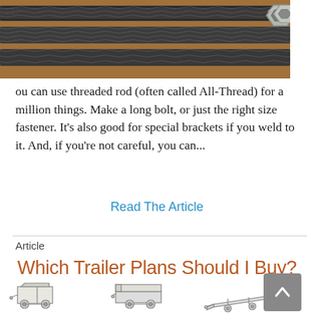[Figure (photo): Close-up photo of metal threaded rods (all-thread/stud bolts) with a hex nut visible in the upper right corner, on a wooden surface background]
ou can use threaded rod (often called All-Thread) for a million things.  Make a long bolt, or just the right size fastener.  It's also good for special brackets if you weld to it.  And, if you're not careful, you can...
Read The Article
Article
Which Trailer Plans Should I Buy?
[Figure (illustration): Line drawings of three different trailer types side by side: a small enclosed utility trailer, a flatbed/dump trailer, and a car hauler/ramp trailer]